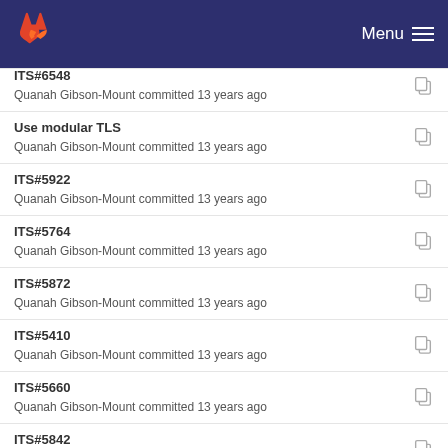GitLab — Menu
ITS#6548
Quanah Gibson-Mount committed 13 years ago
Use modular TLS
Quanah Gibson-Mount committed 13 years ago
ITS#5922
Quanah Gibson-Mount committed 13 years ago
ITS#5764
Quanah Gibson-Mount committed 13 years ago
ITS#5872
Quanah Gibson-Mount committed 13 years ago
ITS#5410
Quanah Gibson-Mount committed 13 years ago
ITS#5660
Quanah Gibson-Mount committed 13 years ago
ITS#5842
Quanah Gibson-Mount committed 13 years ago